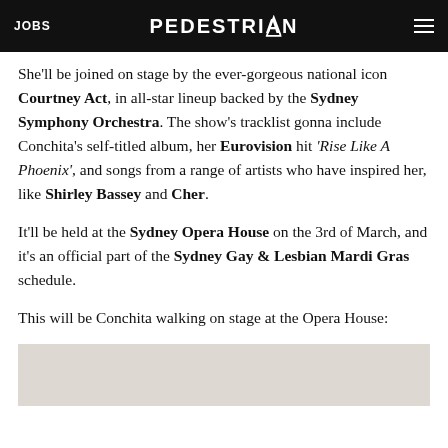JOBS  PEDESTRIAN  ☰
She'll be joined on stage by the ever-gorgeous national icon Courtney Act, in all-star lineup backed by the Sydney Symphony Orchestra. The show's tracklist gonna include Conchita's self-titled album, her Eurovision hit 'Rise Like A Phoenix', and songs from a range of artists who have inspired her, like Shirley Bassey and Cher.
It'll be held at the Sydney Opera House on the 3rd of March, and it's an official part of the Sydney Gay & Lesbian Mardi Gras schedule.
This will be Conchita walking on stage at the Opera House:
[Figure (photo): Partial photo visible at bottom of page, light grey/beige tones]